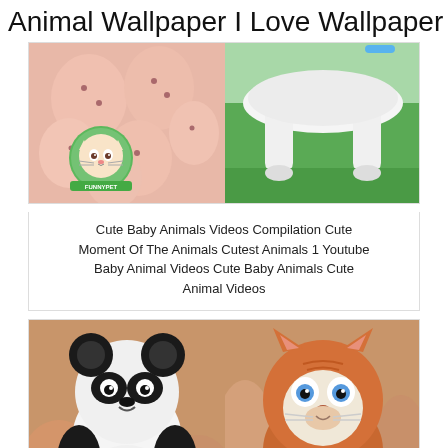Animal Wallpaper I Love Wallpaper
[Figure (photo): Two-panel image: left shows pink round animal eggs/objects with cartoon cat logo overlay; right shows white fluffy animal legs on green grass]
Cute Baby Animals Videos Compilation Cute Moment Of The Animals Cutest Animals 1 Youtube Baby Animal Videos Cute Baby Animals Cute Animal Videos
[Figure (photo): Two-panel image: left shows a panda stuffed toy/baby panda held in hands; right shows an orange kitten with blue eyes held in hands]